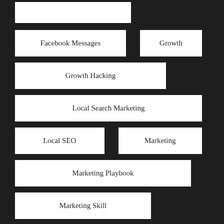Facebook Messages
Growth
Growth Hacking
Local Search Marketing
Local SEO
Marketing
Marketing Playbook
Marketing Skill
More Connections
Networking
Outreach
Playbook
PPC
PPC For Beginners